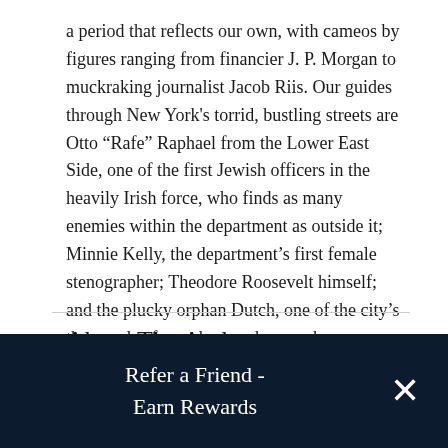a period that reflects our own, with cameos by figures ranging from financier J. P. Morgan to muckraking journalist Jacob Riis. Our guides through New York's torrid, bustling streets are Otto “Rafe” Raphael from the Lower East Side, one of the first Jewish officers in the heavily Irish force, who finds as many enemies within the department as outside it; Minnie Kelly, the department’s first female stenographer; Theodore Roosevelt himself; and the plucky orphan Dutch, one of the city’s thousands of newsboys, who may have seen too much.
About The Author
Refer a Friend - Earn Rewards